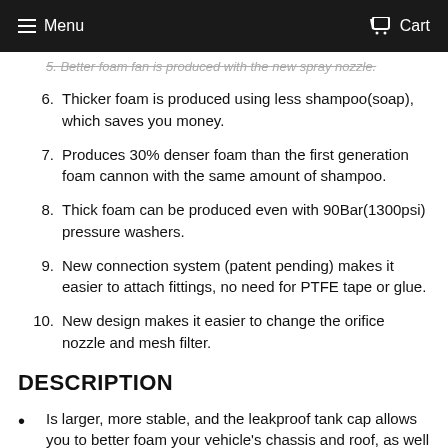Menu  Cart
Better foam fan is produced with the new spray nozzle.
6. Thicker foam is produced using less shampoo(soap), which saves you money.
7. Produces 30% denser foam than the first generation foam cannon with the same amount of shampoo.
8. Thick foam can be produced even with 90Bar(1300psi) pressure washers.
9. New connection system (patent pending) makes it easier to attach fittings, no need for PTFE tape or glue.
10. New design makes it easier to change the orifice nozzle and mesh filter.
DESCRIPTION
Is larger, more stable, and the leakproof tank cap allows you to better foam your vehicle's chassis and roof, as well as store remaining liquid without leaking.